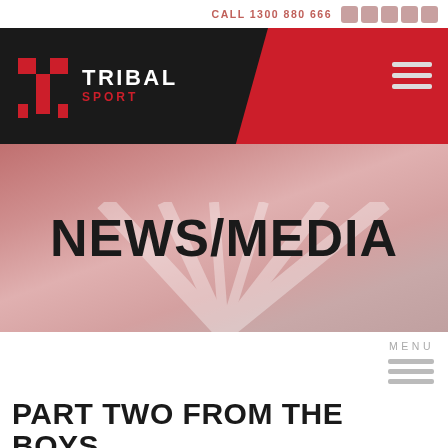CALL 1300 880 666
[Figure (logo): Tribal Sport logo with red T emblem on black background and brand name TRIBAL SPORT]
[Figure (infographic): NEWS/MEDIA hero banner with muted red background and starburst light effect]
NEWS/MEDIA
MENU
PART TWO FROM THE BOYS